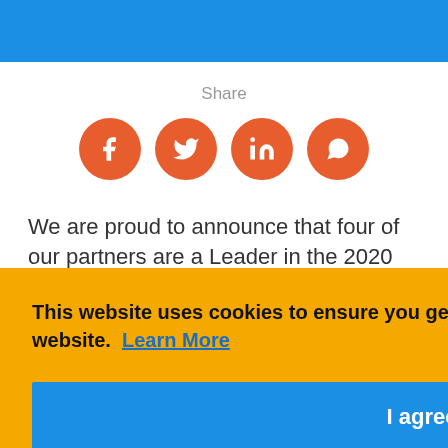Share
[Figure (infographic): Four orange circular social media icons: Facebook (f), Twitter (bird), LinkedIn (in), WhatsApp (phone handset)]
We are proud to announce that four of our partners are a Leader in the 2020 Gartner Magic Quadrant for WAN ... rtinet ... at ... e ... are driving WAN edge infrastructure changes for
This website uses cookies to ensure you get the best experience on our website. Learn More
I agree